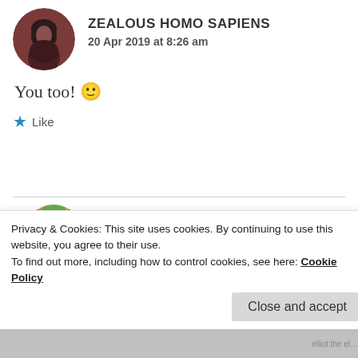ZEALOUS HOMO SAPIENS
20 Apr 2019 at 8:26 am
You too! 🙂
★ Like
□□□□ □□□□
20 Apr 2019 at 9:07 am
Privacy & Cookies: This site uses cookies. By continuing to use this website, you agree to their use.
To find out more, including how to control cookies, see here: Cookie Policy
Close and accept